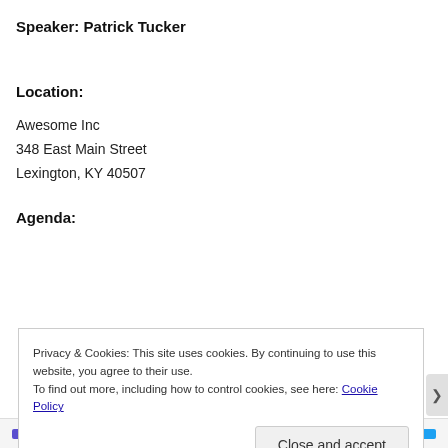Speaker: Patrick Tucker
Location:
Awesome Inc
348 East Main Street
Lexington, KY 40507
Agenda:
Privacy & Cookies: This site uses cookies. By continuing to use this website, you agree to their use.
To find out more, including how to control cookies, see here: Cookie Policy
Close and accept